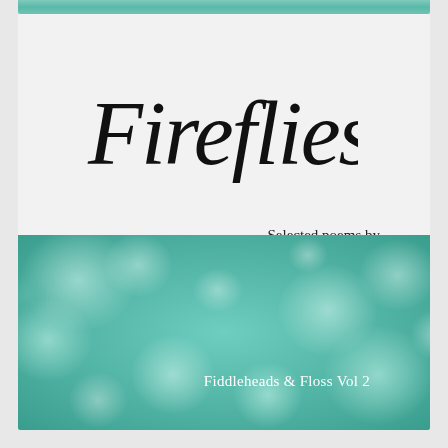Fireflies
Selected poems by
Christina M. Ward
[Figure (illustration): Bokeh teal/green blurred light circles background image forming the lower half of a book cover]
Fiddleheads & Floss Vol 2